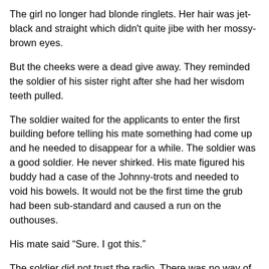The girl no longer had blonde ringlets. Her hair was jet-black and straight which didn't quite jibe with her mossy-brown eyes.
But the cheeks were a dead give away. They reminded the soldier of his sister right after she had her wisdom teeth pulled.
The soldier waited for the applicants to enter the first building before telling his mate something had come up and he needed to disappear for a while. The soldier was a good soldier. He never shirked. His mate figured his buddy had a case of the Johnny-trots and needed to void his bowels. It would not be the first time the grub had been sub-standard and caused a run on the outhouses.
His mate said “Sure. I got this.”
The soldier did not trust the radio. There was no way of knowing who else might be listening.
He hailed a couple more soldiers and hand-over-handed his